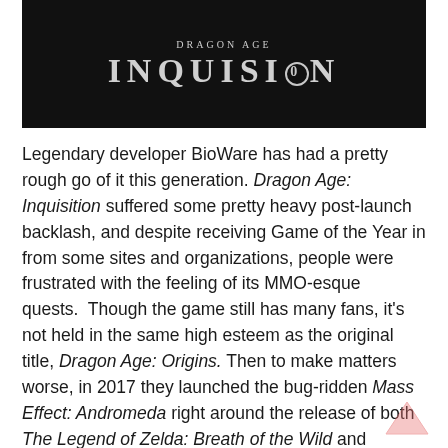[Figure (illustration): Dark black banner image with 'Dragon Age' text above and 'INQUISITION' in large stylized lettering below, on a dark/black background]
Legendary developer BioWare has had a pretty rough go of it this generation. Dragon Age: Inquisition suffered some pretty heavy post-launch backlash, and despite receiving Game of the Year in from some sites and organizations, people were frustrated with the feeling of its MMO-esque quests.  Though the game still has many fans, it's not held in the same high esteem as the original title, Dragon Age: Origins. Then to make matters worse, in 2017 they launched the bug-ridden Mass Effect: Andromeda right around the release of both The Legend of Zelda: Breath of the Wild and Horizon: Zero Dawn.  After seeing those two masterpieces, people were frustrated with a Mass Effect that seemed to get everything wrong. Finally this year, they launched Anthem … a game which